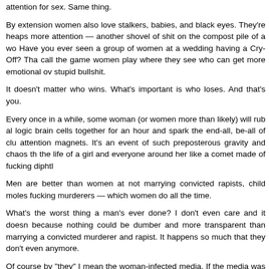attention for sex. Same thing.
By extension women also love stalkers, babies, and black eyes. They're heaps more attention — another shovel of shit on the compost pile of a woman. Have you ever seen a group of women at a wedding having a Cry-Off? That's call the game women play where they see who can get more emotional over stupid bullshit.
It doesn't matter who wins. What's important is who loses. And that's you.
Every once in a while, some woman (or women more than likely) will rub all logic brain cells together for an hour and spark the end-all, be-all of clout attention magnets. It's an event of such preposterous gravity and chaos that the life of a girl and everyone around her like a comet made of fucking dipth
Men are better than women at not marrying convicted rapists, child molesters, fucking murderers — which women do all the time.
What's the worst thing a man's ever done? I don't even care and it doesn't because nothing could be dumber and more transparent than marrying a convicted murderer and rapist. It happens so much that they don't even anymore.
Of course by “they” I mean the woman-infected media. If the media was run which it should be — and also is, but I mean more obviously, like how a man dogsled team — women and their gratuitous fuck-ups would be on a perpetual ticker tape parade across the bottom of the screen.
“…Local woman trades child for new XBox video game console. When asked she replied, ‘I wanted to get him a new XBox for Christmas’… …Fa surprised when heel breaks! More at 11!…”
There would also be more swearing on the news because we men don't have up our asses about that manner of shit. That's a waste of time.